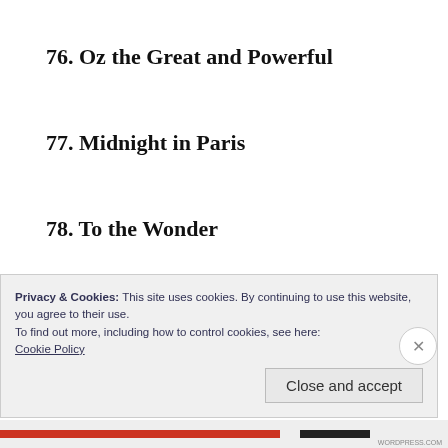76. Oz the Great and Powerful
77. Midnight in Paris
78. To the Wonder
79. Thin Red Line
80. Marnie
81. Ted
Privacy & Cookies: This site uses cookies. By continuing to use this website, you agree to their use.
To find out more, including how to control cookies, see here:
Cookie Policy
Close and accept